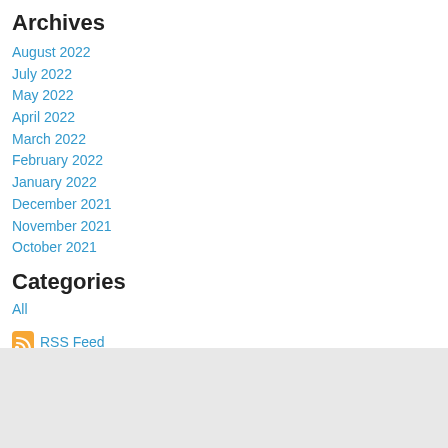Archives
August 2022
July 2022
May 2022
April 2022
March 2022
February 2022
January 2022
December 2021
November 2021
October 2021
Categories
All
RSS Feed